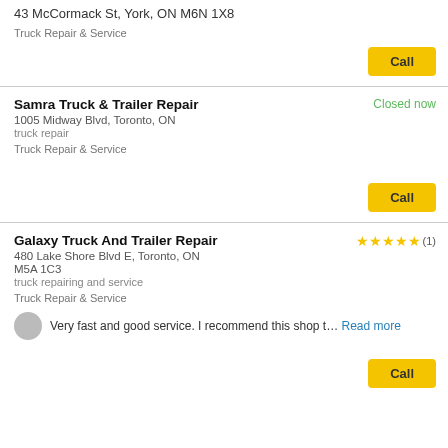43 McCormack St, York, ON M6N 1X8
Truck Repair & Service
Call
Samra Truck & Trailer Repair
Closed now
1005 Midway Blvd, Toronto, ON
truck repair
Truck Repair & Service
Call
Galaxy Truck And Trailer Repair
★★★★★ (1)
480 Lake Shore Blvd E, Toronto, ON
M5A 1C3
truck repairing and service
Truck Repair & Service
Very fast and good service. I recommend this shop t… Read more
Call